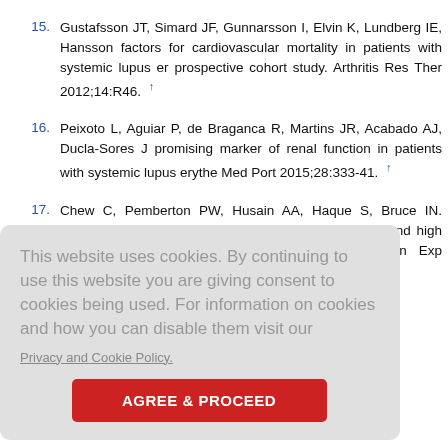15. Gustafsson JT, Simard JF, Gunnarsson I, Elvin K, Lundberg IE, Hansson [et al.] factors for cardiovascular mortality in patients with systemic lupus er[ythematosus] prospective cohort study. Arthritis Res Ther 2012;14:R46. ↑
16. Peixoto L, Aguiar P, de Braganca R, Martins JR, Acabado AJ, Ducla-Sores J[...] promising marker of renal function in patients with systemic lupus erythe[matosus] Med Port 2015;28:333-41. ↑
17. Chew C, Pemberton PW, Husain AA, Haque S, Bruce IN. Serum cystatin C i[s] associated with renal impairment and high sensitivity C-reactive protein in erythematosus. Clin Exp Rheumatol 2013;31:251-5. ↑
This website uses cookies. By continuing to use this website you are giving consent to cookies being used. For information on cookies and how you can disable them visit our Privacy and Cookie Policy.
troianni-Kirs us nephritis?
Thabet EH. etyl-beta-D-g us: Correlat v Dis Trans
ogy revised 1997;40:172